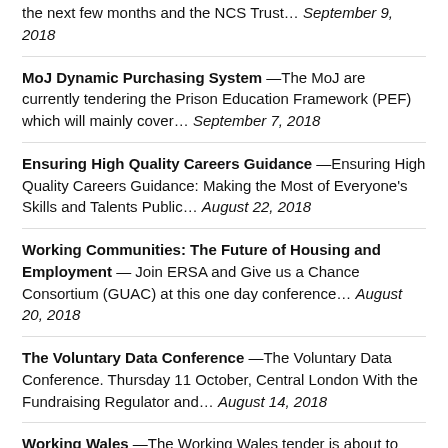MoJ Dynamic Purchasing System —The MoJ are currently tendering the Prison Education Framework (PEF) which will mainly cover… September 7, 2018
Ensuring High Quality Careers Guidance —Ensuring High Quality Careers Guidance: Making the Most of Everyone's Skills and Talents Public… August 22, 2018
Working Communities: The Future of Housing and Employment — Join ERSA and Give us a Chance Consortium (GUAC) at this one day conference… August 20, 2018
The Voluntary Data Conference —The Voluntary Data Conference. Thursday 11 October, Central London With the Fundraising Regulator and… August 14, 2018
Working Wales —The Working Wales tender is about to move into the ITT phase with a… July 13, 2018